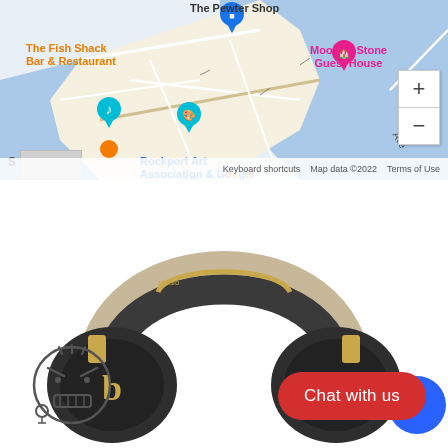[Figure (map): Google Maps screenshot showing Rockport area with labeled locations: The Pewter Shop, The Fish Shack Bar & Restaurant, Mooring Stone Guest House, Rockport Art Association & Museum, with map pins, zoom controls, and footer showing Keyboard shortcuts, Map data ©2022, Terms of Use]
[Figure (photo): Beats Studio3 Wireless headphones in dark shadow grey and gold colorway, viewed from slight angle showing both ear cups and headband. A cartoon angry face emoji is visible in lower left, and a red 'Chat with us' button and partial blue circle are in lower right.]